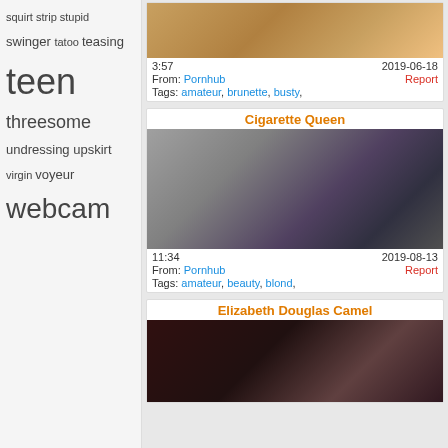squirt strip stupid swinger tatoo teasing teen threesome undressing upskirt virgin voyeur webcam
3:57   2019-06-18
From: Pornhub   Report
Tags: amateur, brunette, busty,
Cigarette Queen
[Figure (photo): Thumbnail of woman with red lips in black dress posing against stone wall]
11:34   2019-08-13
From: Pornhub   Report
Tags: amateur, beauty, blond,
Elizabeth Douglas Camel
[Figure (photo): Thumbnail of woman with glasses and red hair on dark background]